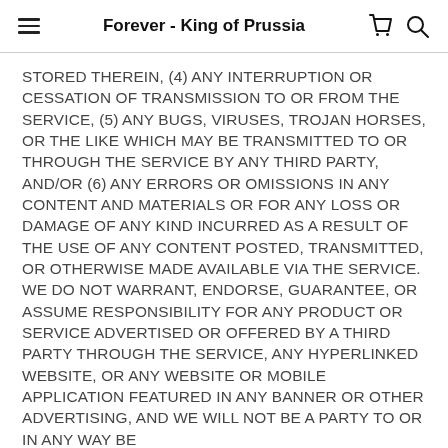Forever - King of Prussia
STORED THEREIN, (4) ANY INTERRUPTION OR CESSATION OF TRANSMISSION TO OR FROM THE SERVICE, (5) ANY BUGS, VIRUSES, TROJAN HORSES, OR THE LIKE WHICH MAY BE TRANSMITTED TO OR THROUGH THE SERVICE BY ANY THIRD PARTY, AND/OR (6) ANY ERRORS OR OMISSIONS IN ANY CONTENT AND MATERIALS OR FOR ANY LOSS OR DAMAGE OF ANY KIND INCURRED AS A RESULT OF THE USE OF ANY CONTENT POSTED, TRANSMITTED, OR OTHERWISE MADE AVAILABLE VIA THE SERVICE. WE DO NOT WARRANT, ENDORSE, GUARANTEE, OR ASSUME RESPONSIBILITY FOR ANY PRODUCT OR SERVICE ADVERTISED OR OFFERED BY A THIRD PARTY THROUGH THE SERVICE, ANY HYPERLINKED WEBSITE, OR ANY WEBSITE OR MOBILE APPLICATION FEATURED IN ANY BANNER OR OTHER ADVERTISING, AND WE WILL NOT BE A PARTY TO OR IN ANY WAY BE